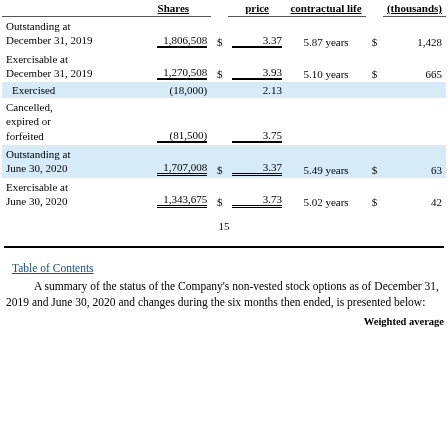|  | Shares | $ | price | contractual life | (thousands) |
| --- | --- | --- | --- | --- | --- |
| Outstanding at December 31, 2019 | 1,806,508 | $ | 3.37 | 5.87 years | $ | 1,428 |
| Exercisable at December 31, 2019 | 1,270,508 | $ | 3.93 | 5.10 years | $ | 665 |
| Exercised | (18,000) |  | 2.13 |  |  |  |
| Cancelled, expired or forfeited | (81,500) |  | 3.75 |  |  |  |
| Outstanding at June 30, 2020 | 1,707,008 | $ | 3.37 | 5.49 years | $ | 63 |
| Exercisable at June 30, 2020 | 1,343,675 | $ | 3.73 | 5.02 years | $ | 42 |
15
Table of Contents
A summary of the status of the Company’s non-vested stock options as of December 31, 2019 and June 30, 2020 and changes during the six months then ended, is presented below:
Weighted average